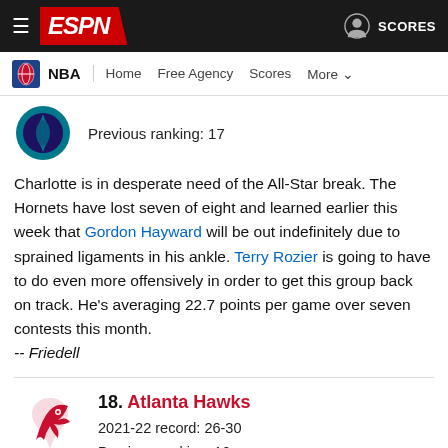ESPN NBA Navigation
Previous ranking: 17
Charlotte is in desperate need of the All-Star break. The Hornets have lost seven of eight and learned earlier this week that Gordon Hayward will be out indefinitely due to sprained ligaments in his ankle. Terry Rozier is going to have to do even more offensively in order to get this group back on track. He's averaging 22.7 points per game over seven contests this month. -- Friedell
18. Atlanta Hawks
2021-22 record: 26-30
Previous ranking: 16